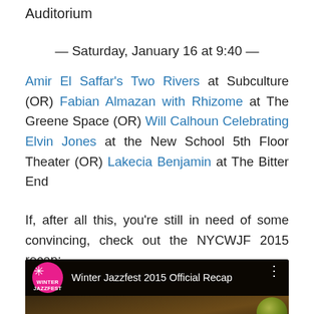Auditorium
— Saturday, January 16 at 9:40 —
Amir El Saffar's Two Rivers at Subculture (OR) Fabian Almazan with Rhizome at The Greene Space (OR) Will Calhoun Celebrating Elvin Jones at the New School 5th Floor Theater (OR) Lakecia Benjamin at The Bitter End
If, after all this, you're still in need of some convincing, check out the NYCWJF 2015 recap:
[Figure (screenshot): YouTube video thumbnail for 'Winter Jazzfest 2015 Official Recap' showing NYC Winter Jazzfest 2015 branding with a play button overlay]